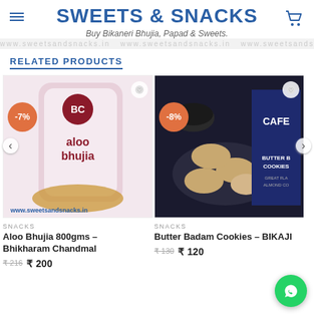SWEETS & SNACKS
Buy Bikaneri Bhujia, Papad & Sweets.
www.sweetsandsnacks.in www.sweetsandsnacks.in
RELATED PRODUCTS
[Figure (photo): Aloo Bhujia 800gms product image with -7% discount badge and www.sweetsandsnacks.in watermark]
[Figure (photo): Butter Badam Cookies BIKAJI product image with -8% discount badge]
SNACKS
Aloo Bhujia 800gms – Bhikharam Chandmal
₹216  ₹ 200
SNACKS
Butter Badam Cookies – BIKAJI
₹130  ₹ 120